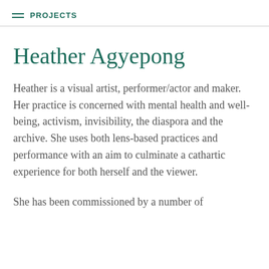PROJECTS
Heather Agyepong
Heather is a visual artist, performer/actor and maker. Her practice is concerned with mental health and well-being, activism, invisibility, the diaspora and the archive. She uses both lens-based practices and performance with an aim to culminate a cathartic experience for both herself and the viewer.
She has been commissioned by a number of